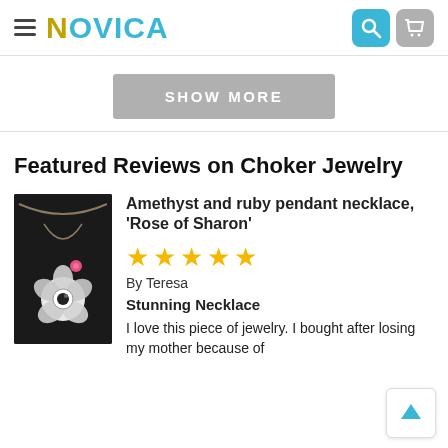NOVICA — search and cart icons
SHOW MORE
Featured Reviews on Choker Jewelry
[Figure (photo): Amethyst and ruby flower pendant necklace photo — Rose of Sharon pendant on dark background]
Amethyst and ruby pendant necklace, 'Rose of Sharon'
★★★★★ (5 stars) By Teresa
Stunning Necklace
I love this piece of jewelry. I bought after losing my mother because of